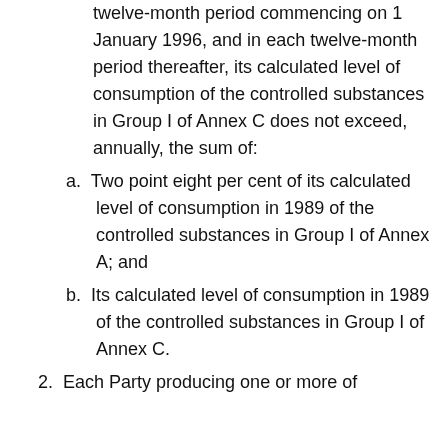twelve-month period commencing on 1 January 1996, and in each twelve-month period thereafter, its calculated level of consumption of the controlled substances in Group I of Annex C does not exceed, annually, the sum of:
a. Two point eight per cent of its calculated level of consumption in 1989 of the controlled substances in Group I of Annex A; and
b. Its calculated level of consumption in 1989 of the controlled substances in Group I of Annex C.
2. Each Party producing one or more of